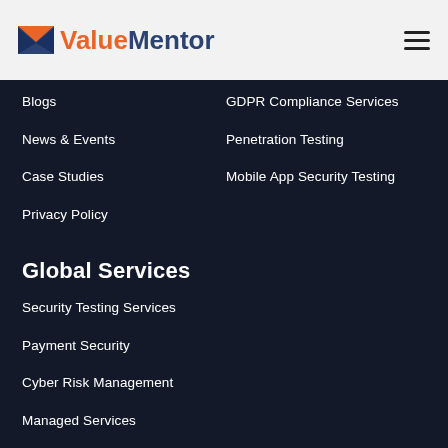[Figure (logo): ValueMentor logo with envelope icon and wordmark in orange and dark blue]
Blogs
GDPR Compliance Services
News & Events
Penetration Testing
Case Studies
Mobile App Security Testing
Privacy Policy
Global Services
Security Testing Services
Payment Security
Cyber Risk Management
Managed Services